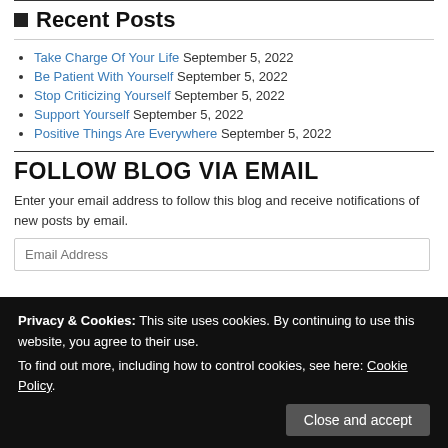Recent Posts
Take Charge Of Your Life September 5, 2022
Be Patient With Yourself September 5, 2022
Stop Criticizing Yourself September 5, 2022
Support Yourself September 5, 2022
Positive Things Are Everywhere September 5, 2022
FOLLOW BLOG VIA EMAIL
Enter your email address to follow this blog and receive notifications of new posts by email.
Email Address
Privacy & Cookies: This site uses cookies. By continuing to use this website, you agree to their use. To find out more, including how to control cookies, see here: Cookie Policy
Close and accept